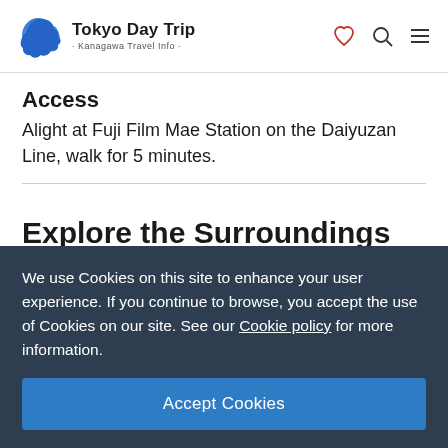Tokyo Day Trip · Kanagawa Travel Info ·
Access
Alight at Fuji Film Mae Station on the Daiyuzan Line, walk for 5 minutes.
Explore the Surroundings
We use Cookies on this site to enhance your user experience. If you continue to browse, you accept the use of Cookies on our site. See our Cookie policy for more information.
Accept Cookies